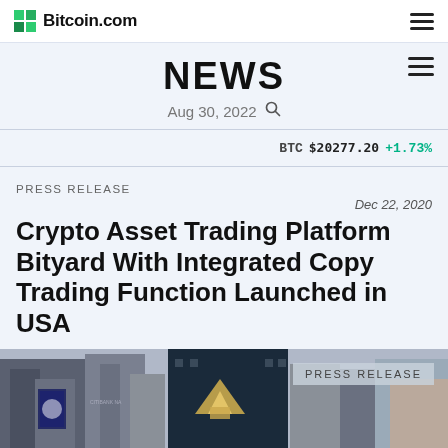Bitcoin.com
NEWS
Aug 30, 2022
BTC $20277.20 +1.73%
PRESS RELEASE
Dec 22, 2020
Crypto Asset Trading Platform Bityard With Integrated Copy Trading Function Launched in USA
[Figure (photo): Street-level photo of buildings and signage with a Bityard logo overlay and PRESS RELEASE watermark label in the bottom-right area.]